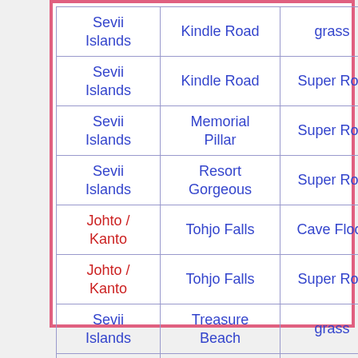| Sevii Islands | Kindle Road | grass |
| Sevii Islands | Kindle Road | Super Rod |
| Sevii Islands | Memorial Pillar | Super Rod |
| Sevii Islands | Resort Gorgeous | Super Rod |
| Johto / Kanto | Tohjo Falls | Cave Floor |
| Johto / Kanto | Tohjo Falls | Super Rod |
| Sevii Islands | Treasure Beach | grass |
| Sevii Islands | Treasure Beach | Super Rod |